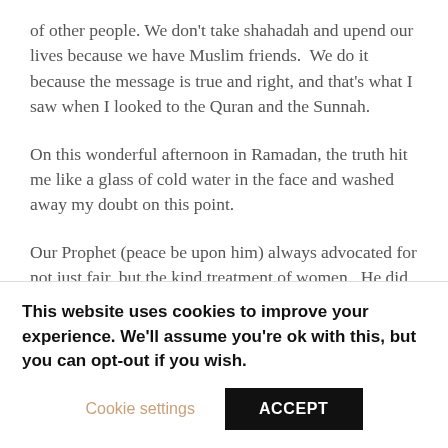of other people. We don't take shahadah and upend our lives because we have Muslim friends.  We do it because the message is true and right, and that's what I saw when I looked to the Quran and the Sunnah.
On this wonderful afternoon in Ramadan, the truth hit me like a glass of cold water in the face and washed away my doubt on this point.
Our Prophet (peace be upon him) always advocated for not just fair, but the kind treatment of women.  He did not only provide for his wives' material needs and physical safety, he exemplified tenderness, patience, and compassion toward
This website uses cookies to improve your experience. We'll assume you're ok with this, but you can opt-out if you wish.
Cookie settings
ACCEPT